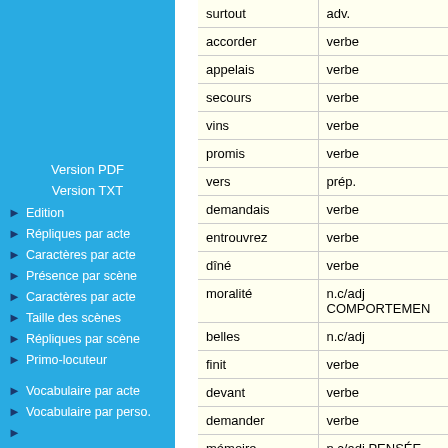Version PDF
Version TXT
Edition
Répliques par acte
Caractères par acte
Présence par scène
Caractères par acte
Taille des scènes
Répliques par scène
Primo-locuteur
Vocabulaire par acte
Vocabulaire par perso.
| word | type |
| --- | --- |
| surtout | adv. |
| accorder | verbe |
| appelais | verbe |
| secours | verbe |
| vins | verbe |
| promis | verbe |
| vers | prép. |
| demandais | verbe |
| entrouvrez | verbe |
| dîné | verbe |
| moralité | n.c/adj COMPORTEMEN |
| belles | n.c/adj |
| finit | verbe |
| devant | verbe |
| demander | verbe |
| mémoire | n.c/adj PENSÉE |